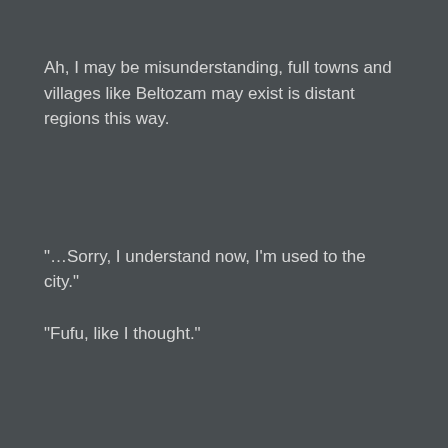Ah, I may be misunderstanding, full towns and villages like Beltozam may exist is distant regions this way.
“…Sorry, I understand now, I’m used to the city.”
“Fufu, like I thought.”
Rubia smiles.
The hair hanging over her shoulders is cute.
Clear blue eyes and golden hair.